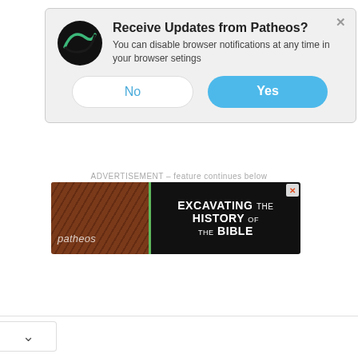[Figure (screenshot): Patheos browser notification popup with logo, title 'Receive Updates from Patheos?', subtitle text, and No/Yes buttons]
ADVERTISEMENT – feature continues below
[Figure (screenshot): Advertisement banner for 'Excavating the History of the Bible' on Patheos, with left side showing Patheos logo over rocky background and right side showing white bold text on black background]